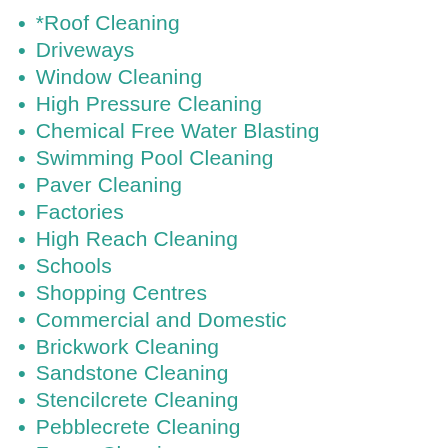*Roof Cleaning
Driveways
Window Cleaning
High Pressure Cleaning
Chemical Free Water Blasting
Swimming Pool Cleaning
Paver Cleaning
Factories
High Reach Cleaning
Schools
Shopping Centres
Commercial and Domestic
Brickwork Cleaning
Sandstone Cleaning
Stencilcrete Cleaning
Pebblecrete Cleaning
Fence Cleaning
Pergola Cleaning
Eaves Cleaning
Tennis Court Cleaning